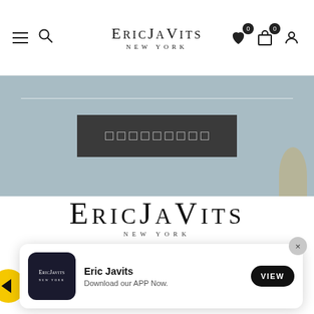Eric Javits New York — navigation bar with hamburger menu, search, logo, wishlist, cart, account icons
[Figure (screenshot): Hero banner with muted blue-gray background, a horizontal white dividing line, and a dark charcoal button with small square icons in the center]
ERICJAVITS NEW YORK
[Figure (screenshot): App download popup banner: Eric Javits app icon, 'Eric Javits - Download our APP Now.' text, and a black VIEW button, with a gray X close button]
It has been said of Eric Javits that he does not just design